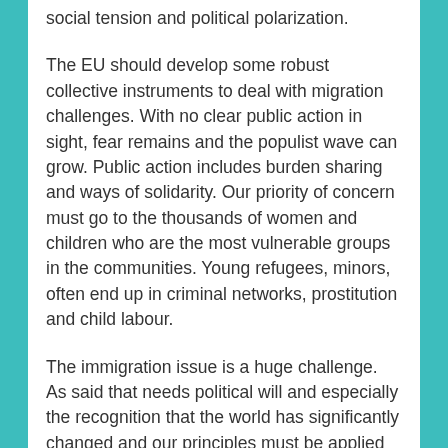social tension and political polarization.
The EU should develop some robust collective instruments to deal with migration challenges. With no clear public action in sight, fear remains and the populist wave can grow. Public action includes burden sharing and ways of solidarity. Our priority of concern must go to the thousands of women and children who are the most vulnerable groups in the communities. Young refugees, minors, often end up in criminal networks, prostitution and child labour.
The immigration issue is a huge challenge. As said that needs political will and especially the recognition that the world has significantly changed and our principles must be applied in different ways. The aim should be a sensible, pragmatic and compassionate migration policy. The question is how to best manage migration